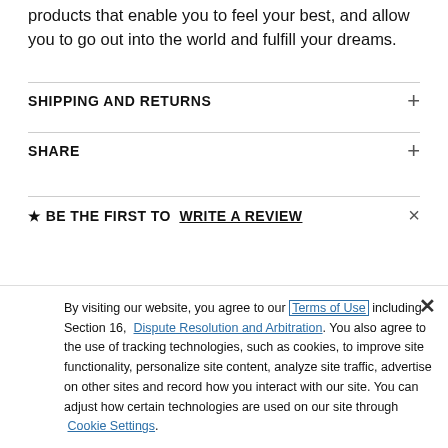products that enable you to feel your best, and allow you to go out into the world and fulfill your dreams.
SHIPPING AND RETURNS
SHARE
★ BE THE FIRST TO WRITE A REVIEW
By visiting our website, you agree to our Terms of Use including Section 16, Dispute Resolution and Arbitration. You also agree to the use of tracking technologies, such as cookies, to improve site functionality, personalize site content, analyze site traffic, advertise on other sites and record how you interact with our site. You can adjust how certain technologies are used on our site through Cookie Settings.